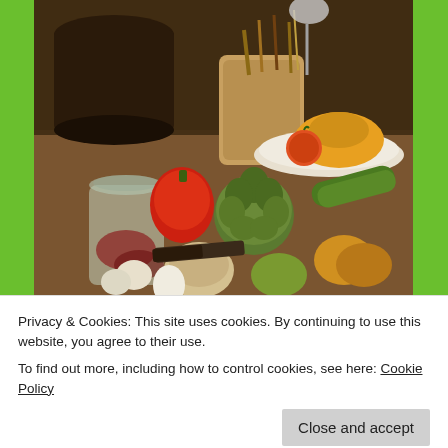[Figure (photo): Photo of a cookbook cover or kitchen scene showing various vegetables (artichoke, squash, peppers, zucchini, mushrooms, garlic) and a glass jar with spices on a wooden surface, with kitchen utensils in a container in the background, on a bright green/lime background.]
Privacy & Cookies: This site uses cookies. By continuing to use this website, you agree to their use.
To find out more, including how to control cookies, see here: Cookie Policy
sewing classes. This inspiringly named book was